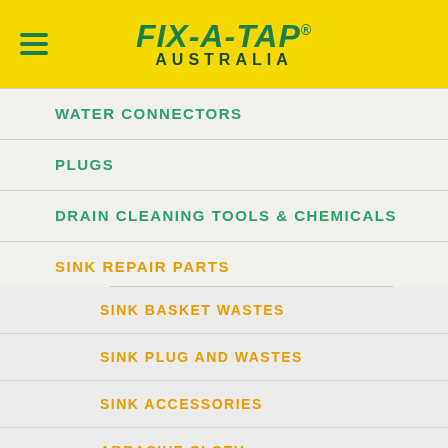FIX-A-TAP AUSTRALIA
WATER CONNECTORS
PLUGS
DRAIN CLEANING TOOLS & CHEMICALS
SINK REPAIR PARTS
SINK BASKET WASTES
SINK PLUG AND WASTES
SINK ACCESSORIES
ABRASIVE CLOTH
JOINERS & REDUCERS
HOUSEHOLD